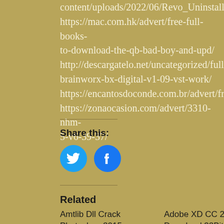content/uploads/2022/06/Revo_Uninstaller_Pro_4 https://mac.com.hk/advert/free-full-books-to-download-the-qb-bad-boy-and-upd/ http://descargatelo.net/uncategorized/full-brainworx-bx-digital-v1-09-vst-work/ https://encantosdoconde.com.br/advert/fritzingtu https://zonaocasion.com/advert/3310-nhm-5-v6-39-37/
Share this:
[Figure (illustration): Twitter social share button (blue circle with white Twitter bird icon)]
[Figure (illustration): Facebook social share button (blue circle with white Facebook 'f' icon)]
Related
Amtlib Dll Crack Photoshop 2015 !!LINK!!
July 26, 2022
Adobe XD CC 2019 Free Download 32Bit-64Bit Latest Version _HOT_
July 25, 2022